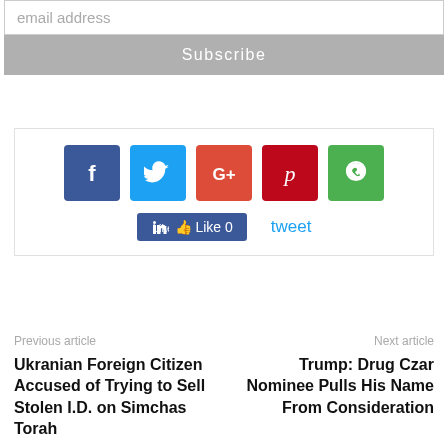email address
Subscribe
[Figure (screenshot): Social media share buttons: Facebook (blue), Twitter (light blue), Google+ (red-orange), Pinterest (dark red), WhatsApp (green), with a Facebook Like 0 button and a tweet link below]
Previous article
Ukranian Foreign Citizen Accused of Trying to Sell Stolen I.D. on Simchas Torah
Next article
Trump: Drug Czar Nominee Pulls His Name From Consideration